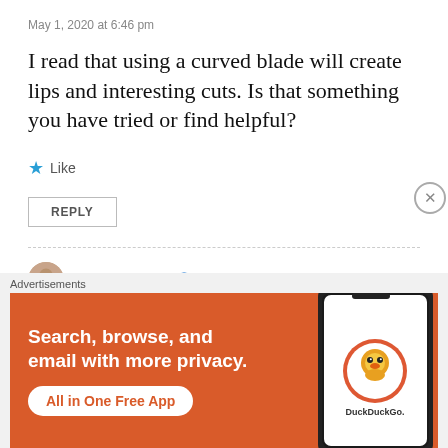May 1, 2020 at 6:46 pm
I read that using a curved blade will create lips and interesting cuts. Is that something you have tried or find helpful?
Like
REPLY
Anna Gabur
May 1, 2020 at 6:51 pm
[Figure (screenshot): DuckDuckGo advertisement banner with orange background showing text 'Search, browse, and email with more privacy. All in One Free App' with a phone image and DuckDuckGo logo]